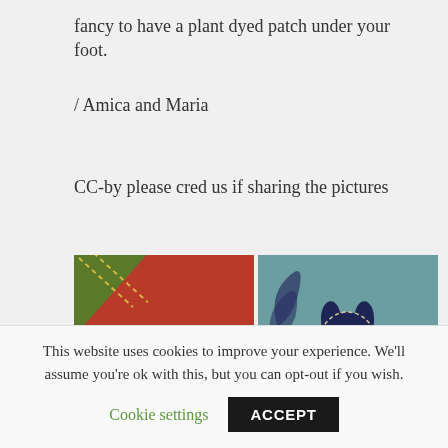fancy to have a plant dyed patch under your foot.
/ Amica and Maria
CC-by please cred us if sharing the pictures
[Figure (photo): Two textile/fabric close-up photos side by side: left shows a dark blue heart shape stitched onto a red woven fabric with yellow stitching and green patch in corner; right shows a dark blue animal figure (possibly a horse or donkey) embroidered on teal/blue-green fabric with cream stitching detail.]
This website uses cookies to improve your experience. We'll assume you're ok with this, but you can opt-out if you wish.
Cookie settings   ACCEPT